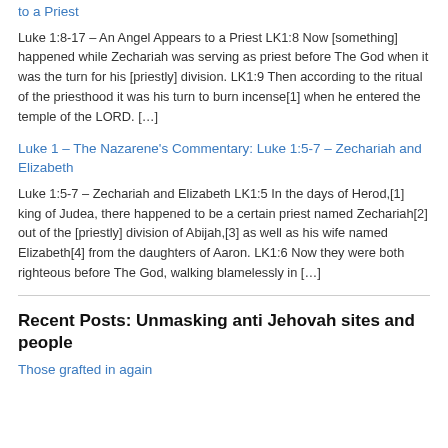to a Priest
Luke 1:8-17 – An Angel Appears to a Priest LK1:8 Now [something] happened while Zechariah was serving as priest before The God when it was the turn for his [priestly] division. LK1:9 Then according to the ritual of the priesthood it was his turn to burn incense[1] when he entered the temple of the LORD. […]
Luke 1 – The Nazarene's Commentary: Luke 1:5-7 – Zechariah and Elizabeth
Luke 1:5-7 – Zechariah and Elizabeth LK1:5 In the days of Herod,[1] king of Judea, there happened to be a certain priest named Zechariah[2] out of the [priestly] division of Abijah,[3] as well as his wife named Elizabeth[4] from the daughters of Aaron. LK1:6 Now they were both righteous before The God, walking blamelessly in […]
Recent Posts: Unmasking anti Jehovah sites and people
Those grafted in again